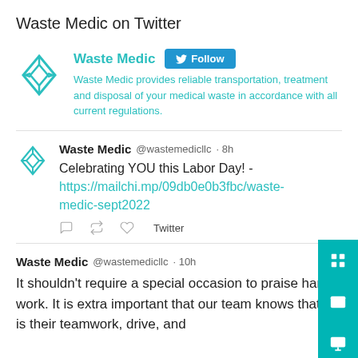Waste Medic on Twitter
[Figure (screenshot): Twitter profile card for Waste Medic showing logo, name, Follow button, and bio text: Waste Medic provides reliable transportation, treatment and disposal of your medical waste in accordance with all current regulations.]
[Figure (screenshot): Tweet from Waste Medic @wastemedicllc 8h ago: Celebrating YOU this Labor Day! - https://mailchi.mp/09db0e0b3fbc/waste-medic-sept2022, with reply/retweet/like icons and Twitter source label]
[Figure (screenshot): Tweet from Waste Medic @wastemedicllc 10h ago: It shouldn't require a special occasion to praise hard work. It is extra important that our team knows that it is their teamwork, drive, and]